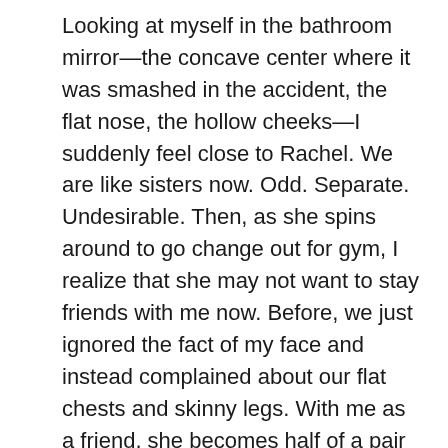Looking at myself in the bathroom mirror—the concave center where it was smashed in the accident, the flat nose, the hollow cheeks—I suddenly feel close to Rachel. We are like sisters now. Odd. Separate. Undesirable. Then, as she spins around to go change out for gym, I realize that she may not want to stay friends with me now. Before, we just ignored the fact of my face and instead complained about our flat chests and skinny legs. With me as a friend, she becomes half of a pair of misfits. I'm not even sure I should stay friends with her.
She walks through the door ahead of me, stiff and erect, her neck pulled long by the silver rods. I think of her like that while I am in dance class in the afternoon. My own neck is long and straight, but